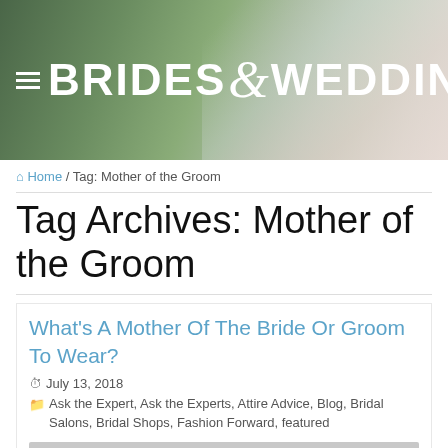[Figure (screenshot): Website header banner for Brides & Weddings with floral background and logo text]
Home / Tag: Mother of the Groom
Tag Archives: Mother of the Groom
What's A Mother Of The Bride Or Groom To Wear?
July 13, 2018
Ask the Expert, Ask the Experts, Attire Advice, Blog, Bridal Salons, Bridal Shops, Fashion Forward, featured
[Figure (photo): Article thumbnail image placeholder (gray)]